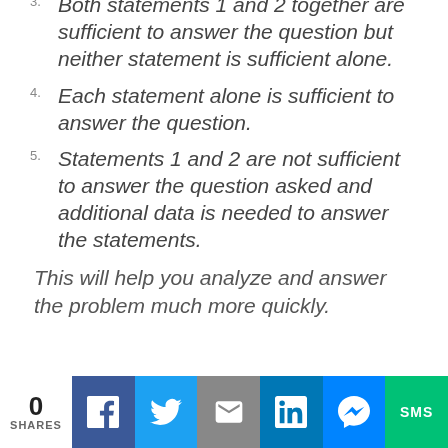3. Both statements 1 and 2 together are sufficient to answer the question but neither statement is sufficient alone.
4. Each statement alone is sufficient to answer the question.
5. Statements 1 and 2 are not sufficient to answer the question asked and additional data is needed to answer the statements.
This will help you analyze and answer the problem much more quickly.
0 SHARES | Social share buttons: Facebook, Twitter, Email, LinkedIn, Messenger, SMS